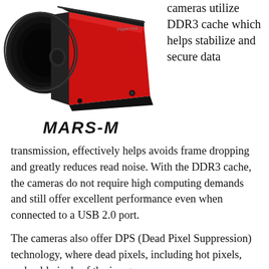[Figure (photo): A red and black cylindrical camera (Player One Mars-M) shown at an angle, with a large lens mount on the left side. Below the camera image is the bold italic text 'MARS-M'.]
cameras utilize DDR3 cache which helps stabilize and secure data
transmission, effectively helps avoids frame dropping and greatly reduces read noise. With the DDR3 cache, the cameras do not require high computing demands and still offer excellent performance even when connected to a USB 2.0 port.
The cameras also offer DPS (Dead Pixel Suppression) technology, where dead pixels, including hot pixels, and cold pixels of the image